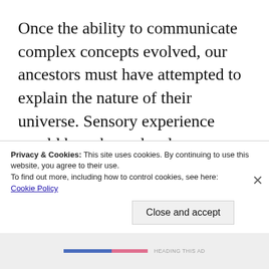Once the ability to communicate complex concepts evolved, our ancestors must have attempted to explain the nature of their universe. Sensory experience would have been deeply mysterious. The rising of the sun, the appearance of thousands of bright points of light in the dark of night, the
Privacy & Cookies: This site uses cookies. By continuing to use this website, you agree to their use.
To find out more, including how to control cookies, see here: Cookie Policy
Close and accept